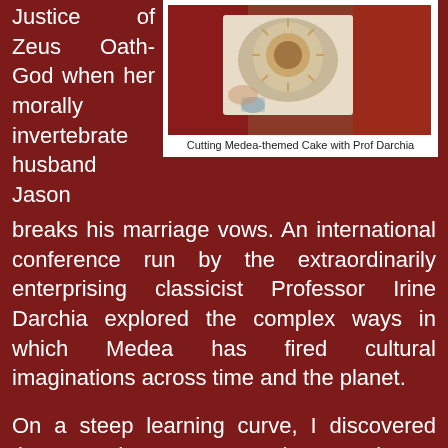Justice of Zeus Oath-God when her morally invertebrate husband Jason
[Figure (photo): A person cutting a Medea-themed cake, photographed from above. Red background visible.]
Cutting Medea-themed Cake with Prof Darchia
breaks his marriage vows. An international conference run by the extraordinarily enterprising classicist Professor Irine Darchia explored the complex ways in which Medea has fired cultural imaginations across time and the planet.
On a steep learning curve, I discovered that Georgians get cross when people say their only famous native son has been Stalin, aka Ioseb Jughashvili. On the contrary, women authority figures are a Georgian tradition, far more so than